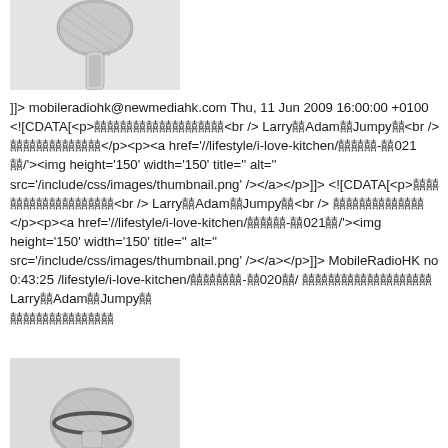[Figure (photo): Close-up photo of a microphone head on a light grey background, top portion visible]
]]> mobileradiohk@newmediahk.com Thu, 11 Jun 2009 16:00:00 +0100 <![CDATA[<p>囍囍囍囍囍囍囍囍囍囍<br /> Larry囍Adam囍Jumpy囍<br /> 囍囍囍囍囍囍囍</p><p><a href='//lifestyle/i-love-kitchen/囍囍囍-囍021囍/'><img height='150' width='150' title='' alt='' src='/include/css/images/thumbnail.png' /></a></p>]]> <![CDATA[<p>囍囍囍囍囍囍囍囍囍囍<br /> Larry囍Adam囍Jumpy囍<br /> 囍囍囍囍囍囍囍</p><p><a href='//lifestyle/i-love-kitchen/囍囍囍-囍021囍/'><img height='150' width='150' title='' alt='' src='/include/css/images/thumbnail.png' /></a></p>]]> MobileRadioHK no 0:43:25 /lifestyle/i-love-kitchen/囍囍囍囍-囍020囍/ 囍囍囍囍囍囍囍囍囍囍
Larry囍Adam囍Jumpy囍
囍囍囍囍囍囍囍囍
[Figure (photo): Close-up photo of a microphone head on a light grey background, bottom portion visible]